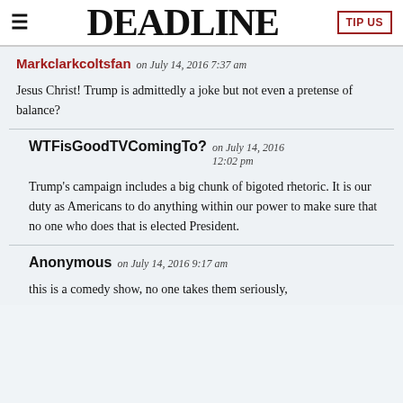≡  DEADLINE  TIP US
Markclarkcoltsfan on July 14, 2016 7:37 am
Jesus Christ! Trump is admittedly a joke but not even a pretense of balance?
WTFisGoodTVComingTo? on July 14, 2016 12:02 pm
Trump's campaign includes a big chunk of bigoted rhetoric. It is our duty as Americans to do anything within our power to make sure that no one who does that is elected President.
Anonymous on July 14, 2016 9:17 am
this is a comedy show, no one takes them seriously,